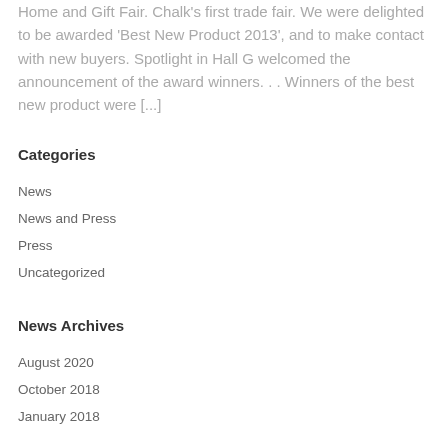Home and Gift Fair. Chalk's first trade fair. We were delighted to be awarded 'Best New Product 2013', and to make contact with new buyers. Spotlight in Hall G welcomed the announcement of the award winners. . . Winners of the best new product were [...]
Categories
News
News and Press
Press
Uncategorized
News Archives
August 2020
October 2018
January 2018